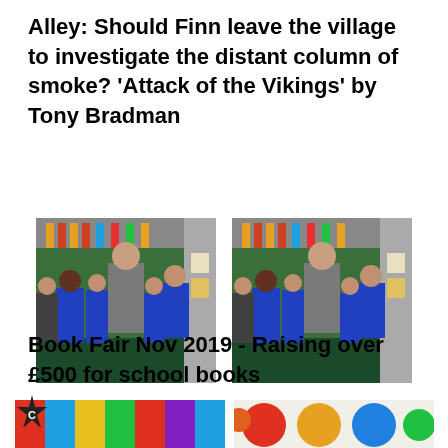Alley: Should Finn leave the village to investigate the distant column of smoke? 'Attack of the Vikings' by Tony Bradman
[Figure (photo): Classroom photo showing children and a teacher standing in a colorful classroom with green display boards]
[Figure (photo): Classroom photo showing children and a teacher standing in a colorful classroom with green display boards, similar to the left photo]
Book Fair Nov 2019 - Raising over £500 for school books
[Figure (photo): Children browsing books at a book fair, colorful books visible on tables]
[Figure (photo): Children sitting at a table reading at a book fair, colorful circular displays on wall behind them]